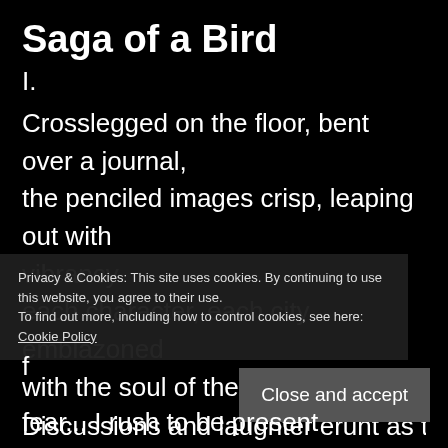Saga of a Bird
I.
Crosslegged on the floor, bent over a journal,
the penciled images crisp, leaping out with vibrancy
each character, each city emblazoned
with the soul of the creator.
Discussions and laughter erunt as the worlds
s
i
f
fear... I rush to be present
Privacy & Cookies: This site uses cookies. By continuing to use this website, you agree to their use. To find out more, including how to control cookies, see here: Cookie Policy
Close and accept